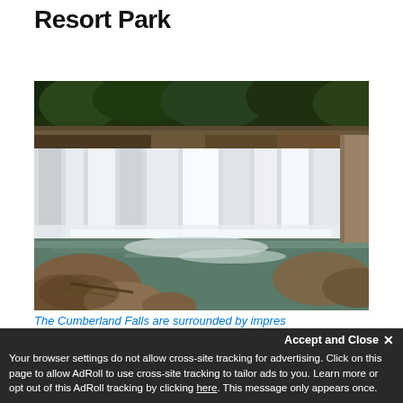Resort Park
[Figure (photo): Photograph of Cumberland Falls, a wide waterfall cascading over a rock ledge surrounded by green forest. Large rocks are visible in the foreground, and the water flows into a green river pool below.]
The Cumberland Falls are surrounded by impres...
Your browser settings do not allow cross-site tracking for advertising. Click on this page to allow AdRoll to use cross-site tracking to tailor ads to you. Learn more or opt out of this AdRoll tracking by clicking here. This message only appears once.